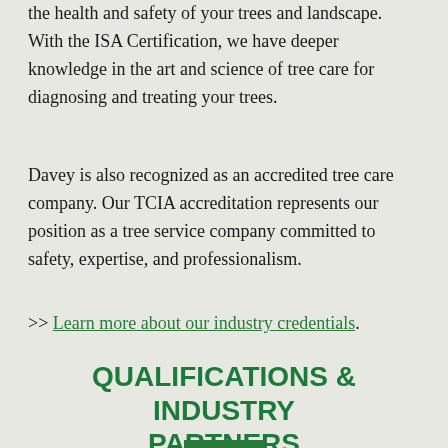the health and safety of your trees and landscape. With the ISA Certification, we have deeper knowledge in the art and science of tree care for diagnosing and treating your trees.
Davey is also recognized as an accredited tree care company. Our TCIA accreditation represents our position as a tree service company committed to safety, expertise, and professionalism.
>> Learn more about our industry credentials.
QUALIFICATIONS & INDUSTRY PARTNERS